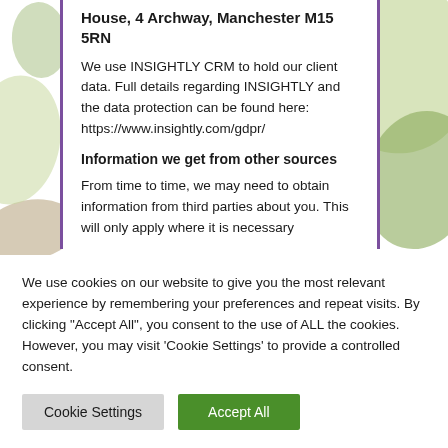House, 4 Archway, Manchester M15 5RN
We use INSIGHTLY CRM to hold our client data. Full details regarding INSIGHTLY and the data protection can be found here: https://www.insightly.com/gdpr/
Information we get from other sources
From time to time, we may need to obtain information from third parties about you. This will only apply where it is necessary
We use cookies on our website to give you the most relevant experience by remembering your preferences and repeat visits. By clicking "Accept All", you consent to the use of ALL the cookies. However, you may visit 'Cookie Settings' to provide a controlled consent.
Cookie Settings | Accept All